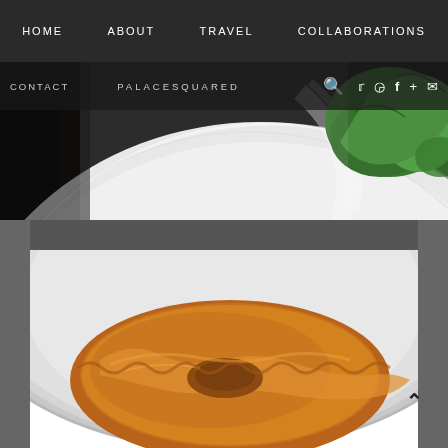HOME  ABOUT  TRAVEL  COLLABORATIONS
CONTACT  PALACESQUARED  [search] [twitter] [instagram] [facebook] [google+] [email]
[Figure (photo): Close-up photo of a white ceramic plate/bowl rim with green salad leaves visible in the upper right corner, set on a dark granite surface.]
[Figure (photo): Close-up photo of a glazed pastry or donut on a white plate, with a caramelized golden-brown surface.]